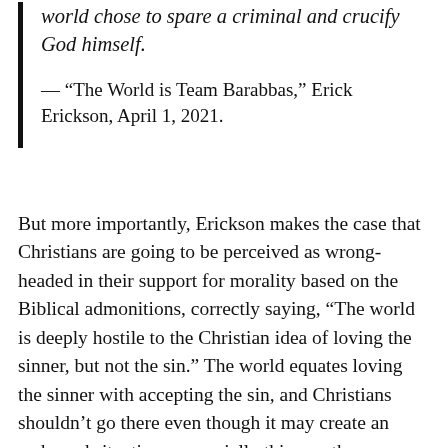world chose to spare a criminal and crucify God himself.
— “The World is Team Barabbas,” Erick Erickson, April 1, 2021.
But more importantly, Erickson makes the case that Christians are going to be perceived as wrong-headed in their support for morality based on the Biblical admonitions, correctly saying, “The world is deeply hostile to the Christian idea of loving the sinner, but not the sin.” The world equates loving the sinner with accepting the sin, and Christians shouldn’t go there even though it may create an awkward situation – especially this month.